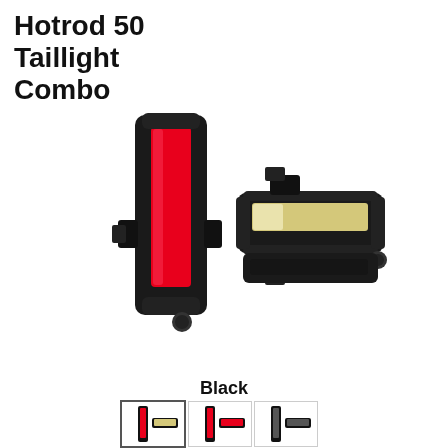Hotrod 50 Taillight Combo
[Figure (photo): Two bicycle taillights shown side by side. Left light is vertical with a red LED strip and black housing. Right light is horizontal with a white/yellow LED strip and black housing. Both have mounting brackets.]
Black
[Figure (photo): Three small thumbnail images of the product in different color variants, showing different light configurations.]